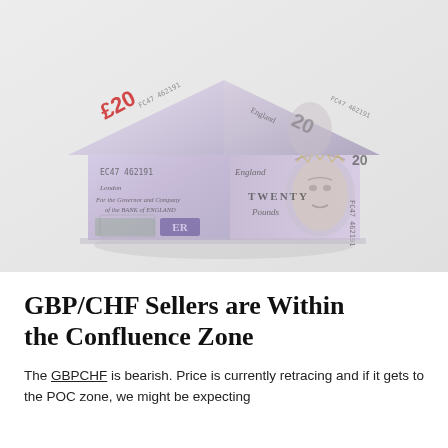[Figure (photo): A house-shaped origami structure folded from British £20 banknotes, showing the Queen's portrait and text 'EC47 462191', 'TWENTY', 'Pounds', 'ER', on a white/grey background.]
GBP/CHF Sellers are Within the Confluence Zone
The GBPCHF is bearish. Price is currently retracing and if it gets to the POC zone, we might be expecting